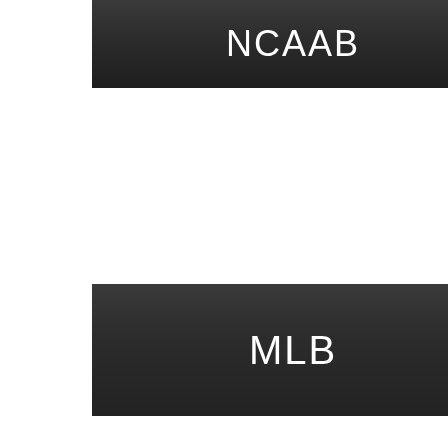[Figure (screenshot): Dark gradient banner with white text reading NCAAB]
[Figure (screenshot): Dark gradient banner with white text reading MLB]
[Figure (screenshot): Bottom navigation bar with hamburger menu icon, MENU text, FAST PASS text and chevron, and OnlineSportsBetting logo]
NCAAB
MLB
MENU
FAST PASS
ONLINE SportsBETTING